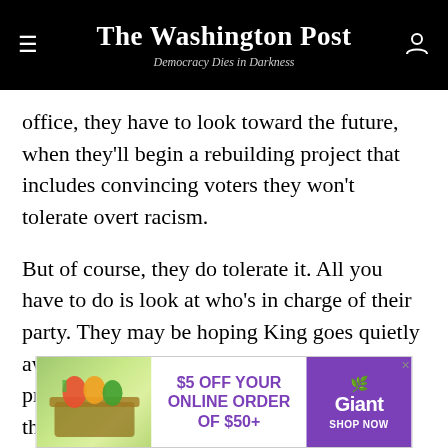The Washington Post — Democracy Dies in Darkness
office, they have to look toward the future, when they'll begin a rebuilding project that includes convincing voters they won't tolerate overt racism.
But of course, they do tolerate it. All you have to do is look at who's in charge of their party. They may be hoping King goes quietly away (perhaps by getting beaten in a 2020 primary; he already has a challenger). But they're going to have a much tougher time evading responsibility for their support of Donald Trump.
[Figure (screenshot): Giant grocery store advertisement: $5 OFF YOUR ONLINE ORDER OF $50+, SHOP NOW]